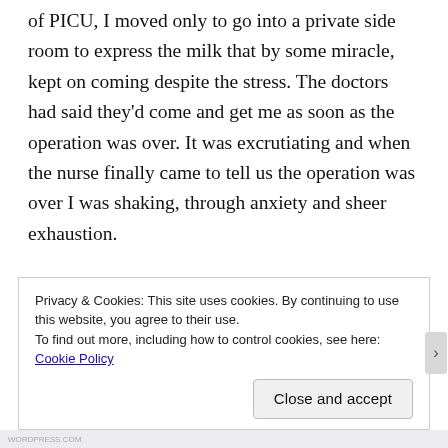of PICU, I moved only to go into a private side room to express the milk that by some miracle, kept on coming despite the stress. The doctors had said they'd come and get me as soon as the operation was over. It was excrutiating and when the nurse finally came to tell us the operation was over I was shaking, through anxiety and sheer exhaustion.
I was taken into a room with the surgeon, a cardiologist and a nurse and it was explained to me that upon opening Zaki's chest they had found that he had TGA
Privacy & Cookies: This site uses cookies. By continuing to use this website, you agree to their use.
To find out more, including how to control cookies, see here:
Cookie Policy
Close and accept